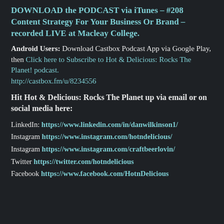DOWNLOAD the PODCAST via iTunes – #208 Content Strategy For Your Business Or Brand – recorded LIVE at Macleay College.
Android Users: Download Castbox Podcast App via Google Play, then Click here to Subscribe to Hot & Delicious: Rocks The Planet! podcast. http://castbox.fm/u/8234556
Hit Hot & Delicious: Rocks The Planet up via email or on social media here:
LinkedIn: https://www.linkedin.com/in/danwilkinson1/
Instagram https://www.instagram.com/hotndelicious/
Instagram https://www.instagram.com/craftbeerlovin/
Twitter https://twitter.com/hotndelicious
Facebook https://www.facebook.com/HotnDelicious